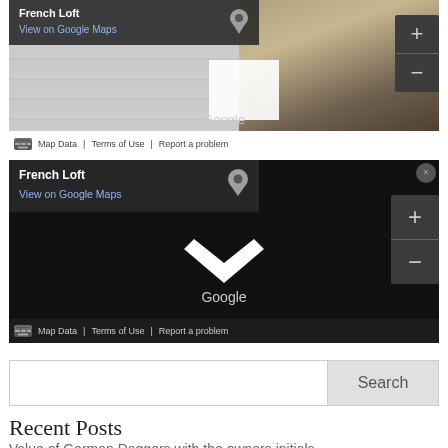[Figure (screenshot): Google Maps Street View screenshot showing 'French Loft' location with map controls, zoom buttons (+/-), View on Google Maps link, Map Data, Terms of Use, Report a problem bar at bottom. Background shows a brick wall interior and a photo of a loft-style space on the right side.]
[Figure (screenshot): Google Maps screenshot on dark/black background showing 'French Loft' location with View on Google Maps link, location pin icon, zoom controls (+/-), Google logo with chevron/check mark below, Map Data, Terms of Use, Report a problem bar at bottom. Dark mode or loading state.]
Search
Recent Posts
Value of German Daggers with the owners initials.